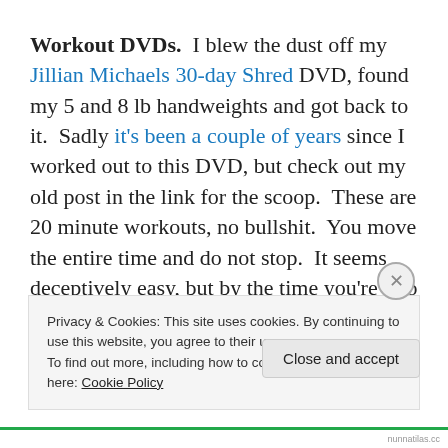Workout DVDs. I blew the dust off my Jillian Michaels 30-day Shred DVD, found my 5 and 8 lb handweights and got back to it. Sadly it's been a couple of years since I worked out to this DVD, but check out my old post in the link for the scoop. These are 20 minute workouts, no bullshit. You move the entire time and do not stop. It seems deceptively easy, but by the time you're into the
Privacy & Cookies: This site uses cookies. By continuing to use this website, you agree to their use. To find out more, including how to control cookies, see here: Cookie Policy
Close and accept